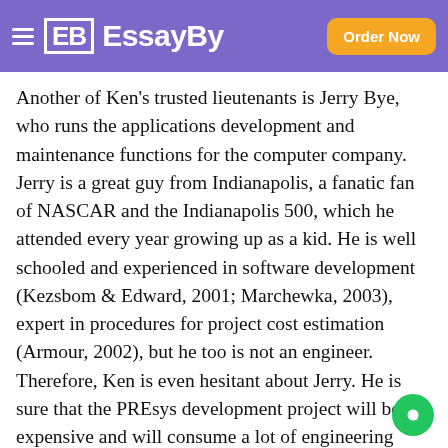EssayBy — Order Now
Another of Ken's trusted lieutenants is Jerry Bye, who runs the applications development and maintenance functions for the computer company. Jerry is a great guy from Indianapolis, a fanatic fan of NASCAR and the Indianapolis 500, which he attended every year growing up as a kid. He is well schooled and experienced in software development (Kezsbom & Edward, 2001; Marchewka, 2003), expert in procedures for project cost estimation (Armour, 2002), but he too is not an engineer. Therefore, Ken is even hesitant about Jerry. He is sure that the PREsys development project will be expensive and will consume a lot of engineering time around the firm. In a company owned and operated by engineers, Ken is hesitant to put a non-engineer in charge of such a high visibility project. Hop will probably let him do it, but if the project turned out badly, it would be a politically difficult decision to justify to the rest of the engineers in the firm. There would a lot of second-guessing, and Ken finally decides he is just not